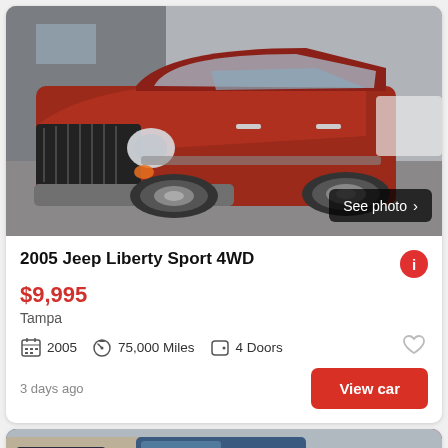[Figure (photo): Red 2005 Jeep Liberty Sport 4WD photographed from the front-left angle in a parking area. A 'See photo >' button overlay appears at bottom right.]
2005 Jeep Liberty Sport 4WD
$9,995
Tampa
2005   75,000 Miles   4 Doors
3 days ago
View car
[Figure (photo): Bottom preview strip showing dark-colored vehicles in a parking lot, partial view of second listing card.]